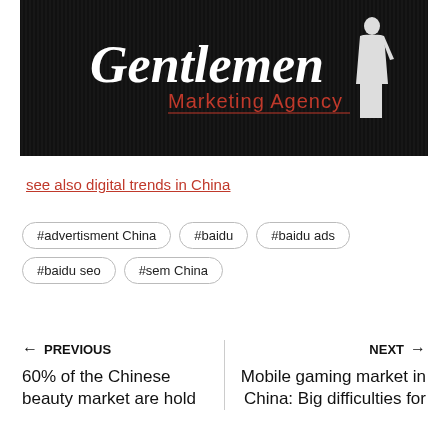[Figure (logo): Gentlemen Marketing Agency logo — white stylized text 'Gentlemen' with red 'Marketing Agency' text and a silhouette of a suited man on a dark/black background]
see also digital trends in China
#advertisment China
#baidu
#baidu ads
#baidu seo
#sem China
← PREVIOUS
60% of the Chinese beauty market are hold
NEXT →
Mobile gaming market in China: Big difficulties for